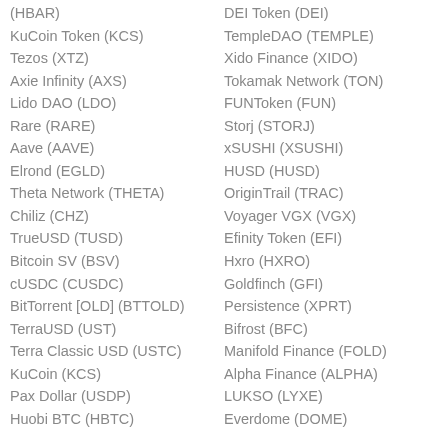(HBAR)
KuCoin Token (KCS)
Tezos (XTZ)
Axie Infinity (AXS)
Lido DAO (LDO)
Rare (RARE)
Aave (AAVE)
Elrond (EGLD)
Theta Network (THETA)
Chiliz (CHZ)
TrueUSD (TUSD)
Bitcoin SV (BSV)
cUSDC (CUSDC)
BitTorrent [OLD] (BTTOLD)
TerraUSD (UST)
Terra Classic USD (USTC)
KuCoin (KCS)
Pax Dollar (USDP)
Huobi BTC (HBTC)
DEI Token (DEI)
TempleDAO (TEMPLE)
Xido Finance (XIDO)
Tokamak Network (TON)
FUNToken (FUN)
Storj (STORJ)
xSUSHI (XSUSHI)
HUSD (HUSD)
OriginTrail (TRAC)
Voyager VGX (VGX)
Efinity Token (EFI)
Hxro (HXRO)
Goldfinch (GFI)
Persistence (XPRT)
Bifrost (BFC)
Manifold Finance (FOLD)
Alpha Finance (ALPHA)
LUKSO (LYXE)
Everdome (DOME)